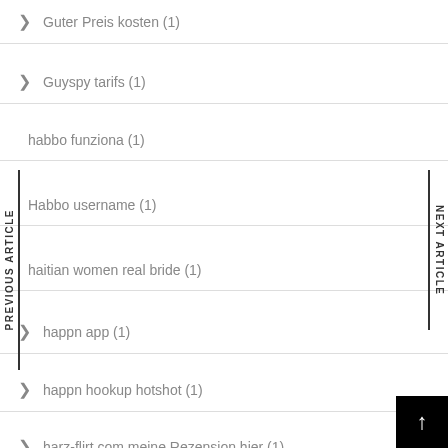Guter Preis kosten (1)
Guyspy tarifs (1)
habbo funziona (1)
Habbo username (1)
haitian women real bride (1)
happn app (1)
happn hookup hotshot (1)
harz-flirt.com meine Rezension hier (1)